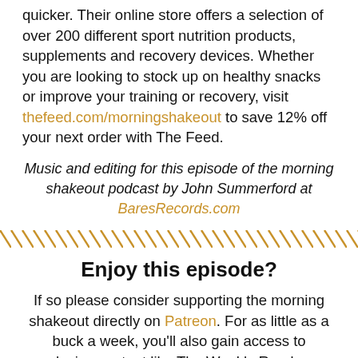quicker. Their online store offers a selection of over 200 different sport nutrition products, supplements and recovery devices. Whether you are looking to stock up on healthy snacks or improve your training or recovery, visit thefeed.com/morningshakeout to save 12% off your next order with The Feed.
Music and editing for this episode of the morning shakeout podcast by John Summerford at BaresRecords.com
Enjoy this episode?
If so please consider supporting the morning shakeout directly on Patreon. For as little as a buck a week, you'll also gain access to exclusive content like The Weekly Rundown, my Patreon-only podcast with Billy M...